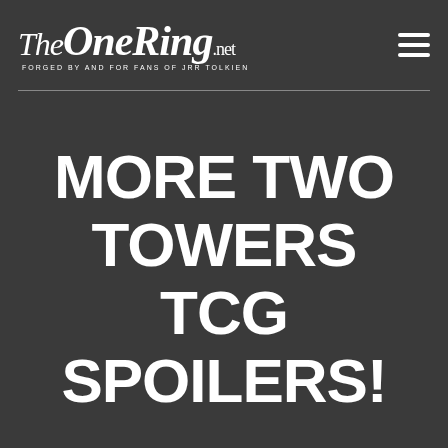[Figure (logo): TheOneRing.net logo with tagline 'FORGED BY AND FOR FANS OF JRR TOLKIEN' and hamburger menu icon]
MORE TWO TOWERS TCG SPOILERS!